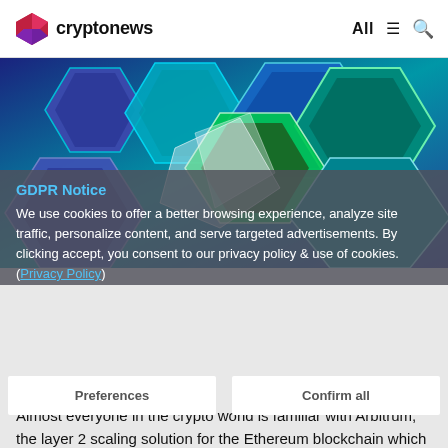cryptonews  All  ☰  🔍
[Figure (photo): Close-up of glowing blue and green hexagonal 3D shapes, representing blockchain/crypto technology, with a translucent white angular shape in the foreground]
GDPR Notice
We use cookies to offer a better browsing experience, analyze site traffic, personalize content, and serve targeted advertisements. By clicking accept, you consent to our privacy policy & use of cookies. (Privacy Policy)
Preferences
Confirm all
Almost everyone in the crypto world is familiar with Arbitrum, the layer 2 scaling solution for the Ethereum blockchain which is designed to enhance the capabilities of Ethereum's smart